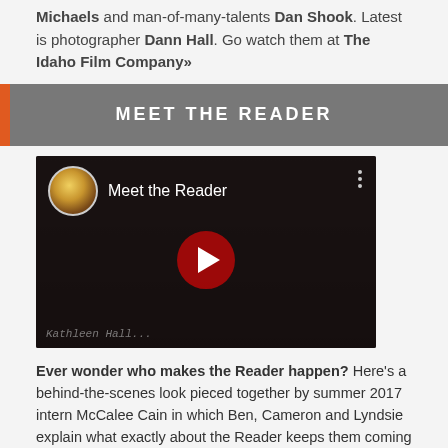Michaels and man-of-many-talents Dan Shook. Latest is photographer Dann Hall. Go watch them at The Idaho Film Company»
MEET THE READER
[Figure (screenshot): YouTube video thumbnail titled 'Meet the Reader' with a circular avatar of a person and a red play button in the center. Bottom text partially visible: 'Kathleen Hall...']
Ever wonder who makes the Reader happen? Here's a behind-the-scenes look pieced together by summer 2017 intern McCalee Cain in which Ben, Cameron and Lyndsie explain what exactly about the Reader keeps them coming back to their shabby (but well–loved) office each week.